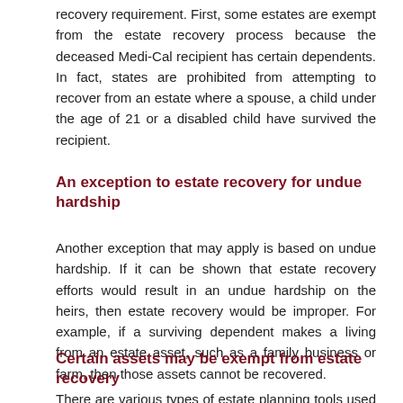recovery requirement. First, some estates are exempt from the estate recovery process because the deceased Medi-Cal recipient has certain dependents. In fact, states are prohibited from attempting to recover from an estate where a spouse, a child under the age of 21 or a disabled child have survived the recipient.
An exception to estate recovery for undue hardship
Another exception that may apply is based on undue hardship. If it can be shown that estate recovery efforts would result in an undue hardship on the heirs, then estate recovery would be improper. For example, if a surviving dependent makes a living from an estate asset, such as a family business or farm, then those assets cannot be recovered.
Certain assets may be exempt from estate recovery
There are various types of estate planning tools used to